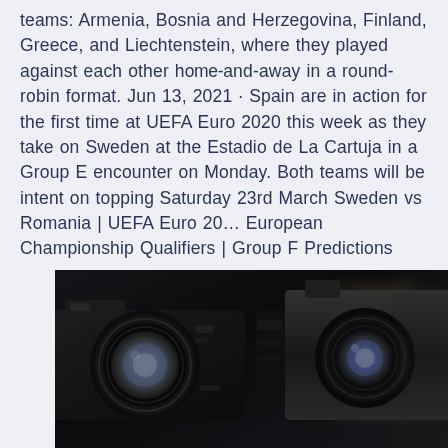teams: Armenia, Bosnia and Herzegovina, Finland, Greece, and Liechtenstein, where they played against each other home-and-away in a round-robin format. Jun 13, 2021 · Spain are in action for the first time at UEFA Euro 2020 this week as they take on Sweden at the Estadio de La Cartuja in a Group E encounter on Monday. Both teams will be intent on topping Saturday 23rd March Sweden vs Romania | UEFA Euro 20... European Championship Qualifiers | Group F Predictions FI... 19SUBSCRIBE & TURN ON NOTIFICATIONS!!If you Jun 14 · Poland vs.
[Figure (photo): A dark close-up photograph of vintage film cameras or projectors with black metal bodies, lenses, and mechanical parts visible against a blurred background.]